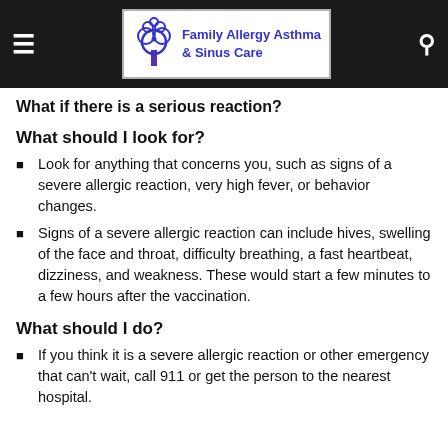Family Allergy Asthma & Sinus Care
What if there is a serious reaction?
What should I look for?
Look for anything that concerns you, such as signs of a severe allergic reaction, very high fever, or behavior changes.
Signs of a severe allergic reaction can include hives, swelling of the face and throat, difficulty breathing, a fast heartbeat, dizziness, and weakness. These would start a few minutes to a few hours after the vaccination.
What should I do?
If you think it is a severe allergic reaction or other emergency that can't wait, call 911 or get the person to the nearest hospital.